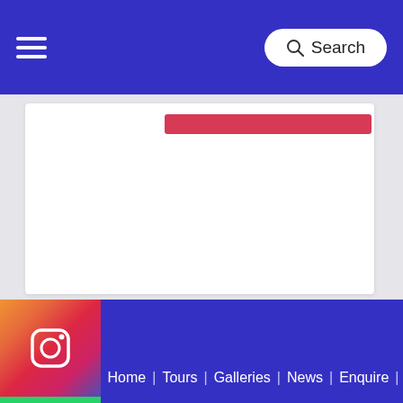Search
[Figure (screenshot): White card area with red bar at top]
[Figure (other): Social media sidebar with Instagram, WhatsApp, and Phone icons]
Home | Tours | Galleries | News | Enquire | About Us
> About Us
> Why Us?
> Contact Us
> Blogs